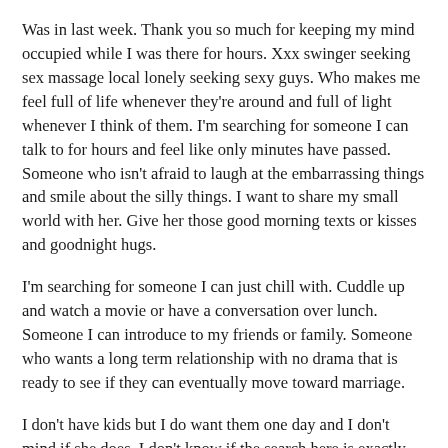Was in last week. Thank you so much for keeping my mind occupied while I was there for hours. Xxx swinger seeking sex massage local lonely seeking sexy guys. Who makes me feel full of life whenever they're around and full of light whenever I think of them. I'm searching for someone I can talk to for hours and feel like only minutes have passed. Someone who isn't afraid to laugh at the embarrassing things and smile about the silly things. I want to share my small world with her. Give her those good morning texts or kisses and goodnight hugs.
I'm searching for someone I can just chill with. Cuddle up and watch a movie or have a conversation over lunch. Someone I can introduce to my friends or family. Someone who wants a long term relationship with no drama that is ready to see if they can eventually move toward marriage.
I don't have kids but I do want them one day and I don't mind if she does. I don't know if the search here is exactly the right place to find someone but I feel everything is worth a try just once. I'm really just trying to find the one woman in this world who makes me feel like I am here because of her. I want to be the same thing to her also.
I am honest above all else, loyal, committed, real, attentive, involved, supportive, wise. So many different things I have given